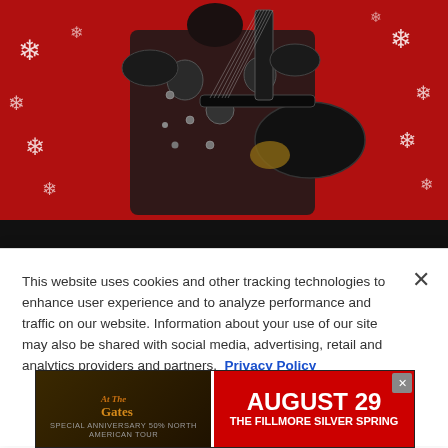[Figure (photo): A guitarist in elaborate black and silver costume performing on stage with a guitar, against a red background decorated with white snowflakes. The lower portion of the image is a dark/black bar.]
This website uses cookies and other tracking technologies to enhance user experience and to analyze performance and traffic on our website. Information about your use of our site may also be shared with social media, advertising, retail and analytics providers and partners. Privacy Policy
[Figure (illustration): Advertisement banner for 'At The Gates' concert on August 29 at The Fillmore Silver Spring. Dark background on left with stylized text logo, red background on right with event date and venue details. Close button (X) in top-right corner.]